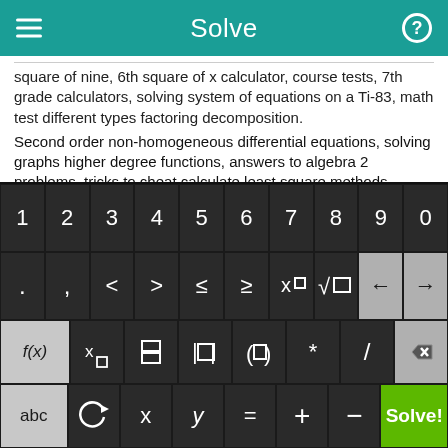Solve
square of nine, 6th square of x calculator, course tests, 7th grade calculators, solving system of equations on a Ti-83, math test different types factoring decomposition.
Second order non-homogeneous differential equations, solving graphs higher degree functions, answers to algebra 2 problems, tricks to cheat calculate least square methods, worksheets on slope, quadratic, absolute, square, ti-86 free downloads slope.
Boolean logic solver, math caching alge 2, least common multiples charts, hyperbola definition.
[Figure (screenshot): Calculator keyboard with numeric row (1-0), symbol row (. , < > ≤ ≥ x□ √□ ← →), function row (f(x) x□ fraction absolute-value parentheses * / delete), and bottom row (abc ↺ x y = + - Solve!)]